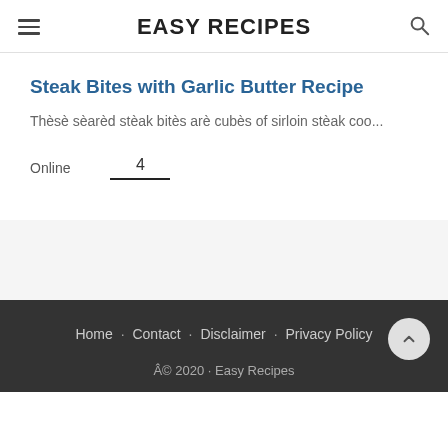EASY RECIPES
Steak Bites with Garlic Butter Recipe
Thèsè sèarèd stèak bitès arè cubès of sirloin stèak coo...
Online  4
Home · Contact · Disclaimer · Privacy Policy  Â© 2020 · Easy Recipes